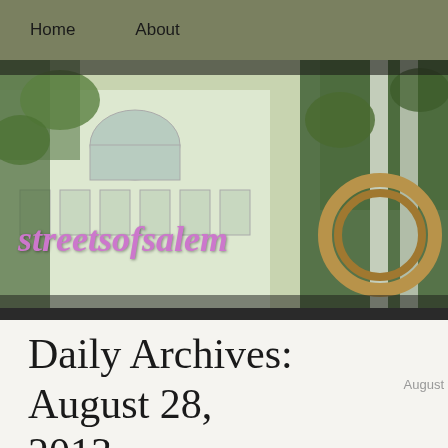Home   About
[Figure (photo): Banner header image of a historic building with ivy and greenery, and a decorative wicker wreath, with site title 'streetsofsalem' overlaid in pink/purple italic text]
Daily Archives: August 28, 2013
Intricate Insects
By daseger